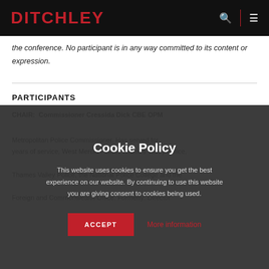DITCHLEY
the conference. No participant is in any way committed to its content or expression.
PARTICIPANTS
CHAIR: Commissioner Cressida Dick CBE OPM
Metropolitan Police Commissioner. Has served for over 30 years of service. Formerly: West Mercia Police, Thames Valley Police, the National Police College and the Foreign and Commonwealth Office. Formerly: Director
Cookie Policy

This website uses cookies to ensure you get the best experience on our website. By continuing to use this website you are giving consent to cookies being used.

ACCEPT    More information